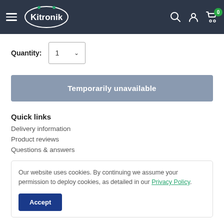Kitronik — navigation bar with hamburger menu, logo, search, account, and cart icons
Quantity: 1
Temporarily unavailable
Quick links
Delivery information
Product reviews
Questions & answers
Our website uses cookies. By continuing we assume your permission to deploy cookies, as detailed in our Privacy Policy.
Accept